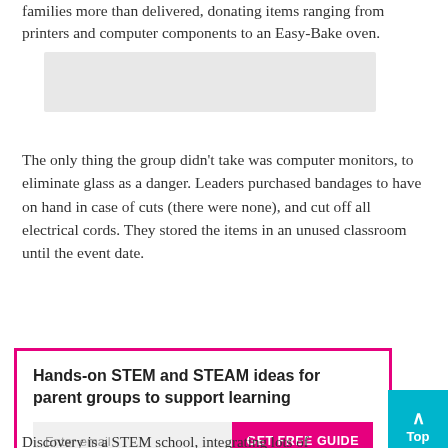families more than delivered, donating items ranging from printers and computer components to an Easy-Bake oven.
[Figure (photo): Gray rectangular image placeholder]
The only thing the group didn't take was computer monitors, to eliminate glass as a danger. Leaders purchased bandages to have on hand in case of cuts (there were none), and cut off all electrical cords. They stored the items in an unused classroom until the event date.
Hands-on STEM and STEAM ideas for parent groups to support learning
Enter email   GET FREE GUIDE
Discovery is a STEM school, integrating lots of